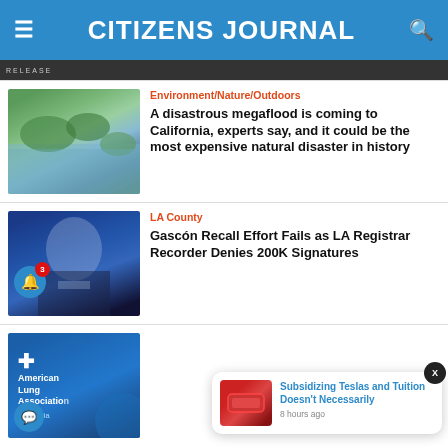CITIZENS JOURNAL
[Figure (screenshot): Partial image at top of page, dark strip]
[Figure (photo): Aerial photo of flooded landscape with green areas and water]
Environment/Nature/Outdoors
A disastrous megaflood is coming to California, experts say, and it could be the most expensive natural disaster in history
[Figure (photo): Man in dark suit on blue background, notification bell icon with badge 3]
LA County
Gascón Recall Effort Fails as LA Registrar Recorder Denies 200K Signatures
[Figure (photo): American Lung Association California logo on blue background]
[Figure (photo): Popup notification with Tesla image thumbnail]
Subsidizing Teslas and Tuition Doesn't Necessarily
8 hours ago